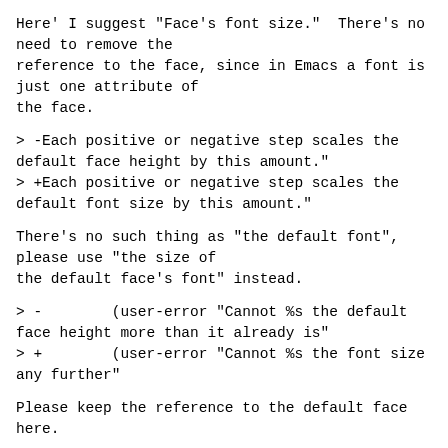Here' I suggest "Face's font size."  There's no need to remove the
reference to the face, since in Emacs a font is just one attribute of
the face.
> -Each positive or negative step scales the default face height by this amount."
> +Each positive or negative step scales the default font size by this amount."
There's no such thing as "the default font", please use "the size of
the default face's font" instead.
> -        (user-error "Cannot %s the default face height more than it already is"
> +        (user-error "Cannot %s the font size any further"
Please keep the reference to the default face here.
> +  +, =  Increase default font size in current